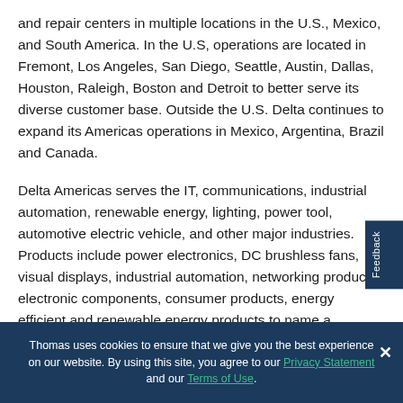and repair centers in multiple locations in the U.S., Mexico, and South America. In the U.S, operations are located in Fremont, Los Angeles, San Diego, Seattle, Austin, Dallas, Houston, Raleigh, Boston and Detroit to better serve its diverse customer base. Outside the U.S. Delta continues to expand its Americas operations in Mexico, Argentina, Brazil and Canada.
Delta Americas serves the IT, communications, industrial automation, renewable energy, lighting, power tool, automotive electric vehicle, and other major industries. Products include power electronics, DC brushless fans, visual displays, industrial automation, networking products, electronic components, consumer products, energy efficient and renewable energy products to name a
Thomas uses cookies to ensure that we give you the best experience on our website. By using this site, you agree to our Privacy Statement and our Terms of Use.